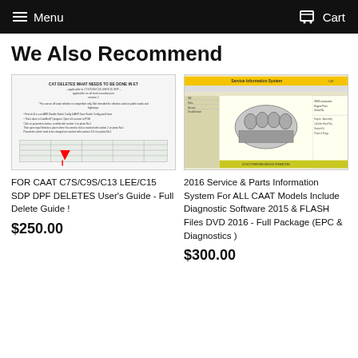Menu  Cart
We Also Recommend
[Figure (screenshot): Document screenshot showing CAT DELETES WHAT NEEDS TO BE DONE IN ET guide with red arrow pointing to a table]
FOR CAAT C7S/C9S/C13 LEE/C15 SDP DPF DELETES User's Guide - Full Delete Guide !
$250.00
[Figure (screenshot): Service & Parts Information System software screenshot showing engine parts diagram with yellow/green interface]
2016 Service & Parts Information System For ALL CAAT Models Include Diagnostic Software 2015 & FLASH Files DVD 2016 - Full Package (EPC & Diagnostics )
$300.00